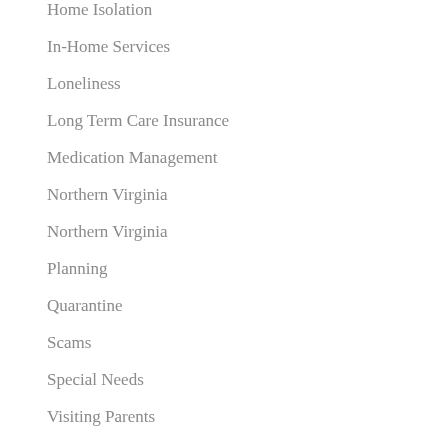Home Isolation
In-Home Services
Loneliness
Long Term Care Insurance
Medication Management
Northern Virginia
Northern Virginia
Planning
Quarantine
Scams
Special Needs
Visiting Parents